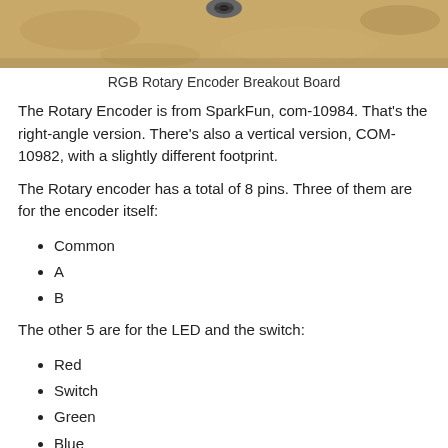[Figure (photo): Photo of RGB Rotary Encoder Breakout Board showing sandy/cork-like surface with a dark screw/mount visible at top center]
RGB Rotary Encoder Breakout Board
The Rotary Encoder is from SparkFun, com-10984. That's the right-angle version. There's also a vertical version, COM-10982, with a slightly different footprint.
The Rotary encoder has a total of 8 pins. Three of them are for the encoder itself:
Common
A
B
The other 5 are for the LED and the switch:
Red
Switch
Green
Blue
V+